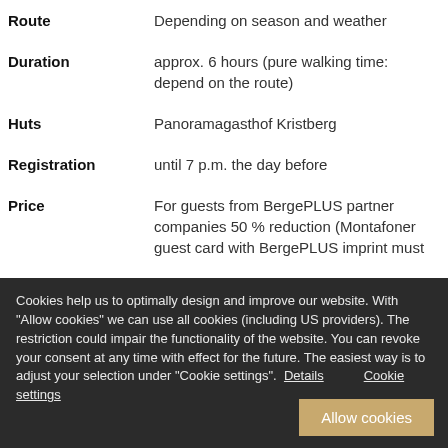| Field | Value |
| --- | --- |
| Route | Depending on season and weather |
| Duration | approx. 6 hours (pure walking time: depend on the route) |
| Huts | Panoramagasthof Kristberg |
| Registration | until 7 p.m. the day before |
| Price | For guests from BergePLUS partner companies 50 % reduction (Montafoner guest card with BergePLUS imprint must |
Cookies help us to optimally design and improve our website. With "Allow cookies" we can use all cookies (including US providers). The restriction could impair the functionality of the website. You can revoke your consent at any time with effect for the future. The easiest way is to adjust your selection under "Cookie settings". Details   Cookie settings